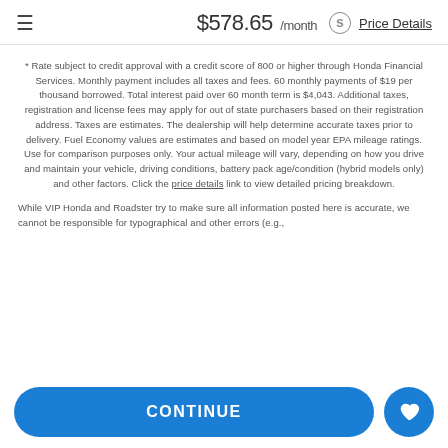$578.65 /month  Price Details
* Rate subject to credit approval with a credit score of 800 or higher through Honda Financial Services. Monthly payment includes all taxes and fees. 60 monthly payments of $19 per thousand borrowed. Total interest paid over 60 month term is $4,043. Additional taxes, registration and license fees may apply for out of state purchasers based on their registration address. Taxes are estimates. The dealership will help determine accurate taxes prior to delivery. Fuel Economy values are estimates and based on model year EPA mileage ratings. Use for comparison purposes only. Your actual mileage will vary, depending on how you drive and maintain your vehicle, driving conditions, battery pack age/condition (hybrid models only) and other factors. Click the price details link to view detailed pricing breakdown.
While VIP Honda and Roadster try to make sure all information posted here is accurate, we cannot be responsible for typographical and other errors (e.g.,